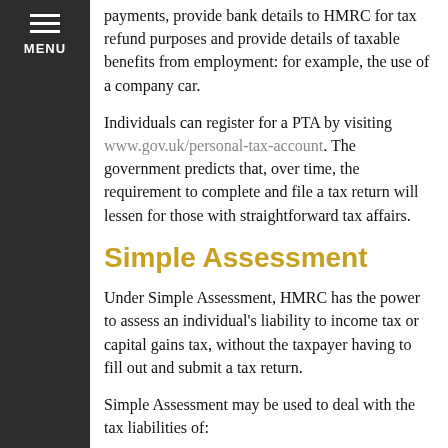payments, provide bank details to HMRC for tax refund purposes and provide details of taxable benefits from employment: for example, the use of a company car.
Individuals can register for a PTA by visiting www.gov.uk/personal-tax-account. The government predicts that, over time, the requirement to complete and file a tax return will lessen for those with straightforward tax affairs.
Simple Assessment
Under Simple Assessment, HMRC has the power to assess an individual's liability to income tax or capital gains tax, without the taxpayer having to fill out and submit a tax return.
Simple Assessment may be used to deal with the tax liabilities of:
state pensioners whose state pension is higher than their personal tax allowance where the tax